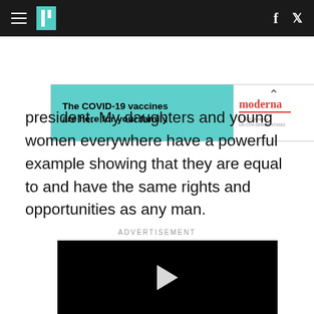HuffPost navigation bar with hamburger menu, logo, Facebook and Twitter icons
[Figure (other): Advertisement banner: 'The COVID-19 vaccines are here for your family' with Moderna logo on teal/white background]
president. My daughters and young women everywhere have a powerful example showing that they are equal to and have the same rights and opportunities as any man.
ADVERTISEMENT
[Figure (other): Black video player with white play button triangle in the center]